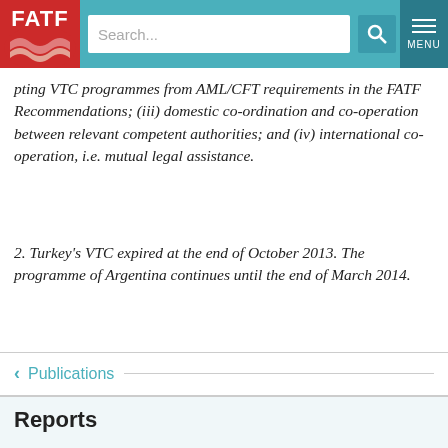FATF — Search — MENU
…pting VTC programmes from AML/CFT requirements in the FATF Recommendations; (iii) domestic co-ordination and co-operation between relevant competent authorities; and (iv) international co-operation, i.e. mutual legal assistance.
2. Turkey's VTC expired at the end of October 2013. The programme of Argentina continues until the end of March 2014.
< Publications
Reports